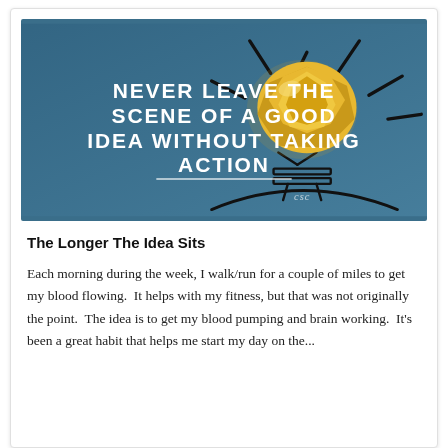[Figure (illustration): Motivational quote image with blue background, crumpled yellow paper ball as a lightbulb, black drawn lightbulb outline, white uppercase text reading NEVER LEAVE THE SCENE OF A GOOD IDEA WITHOUT TAKING ACTION, with a CSC watermark in cursive.]
The Longer The Idea Sits
Each morning during the week, I walk/run for a couple of miles to get my blood flowing.  It helps with my fitness, but that was not originally the point.  The idea is to get my blood pumping and brain working.  It's been a great habit that helps me start my day on the...